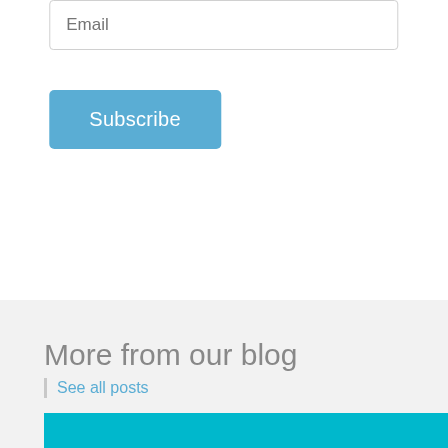Email
Subscribe
More from our blog
See all posts